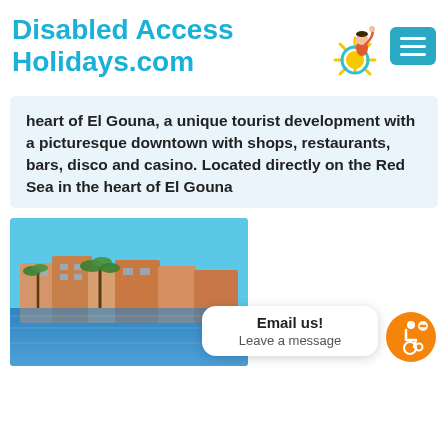[Figure (logo): Disabled Access Holidays.com logo with teal text, sun and wheelchair mascot illustration, and teal hamburger menu button]
heart of El Gouna, a unique tourist development with a picturesque downtown with shops, restaurants, bars, disco and casino. Located directly on the Red Sea in the heart of El Gouna
[Figure (photo): Photo of El Gouna resort buildings with palm trees reflected in a lagoon under blue sky, with Email us! Leave a message popup and orange wheelchair user chat icon overlay]